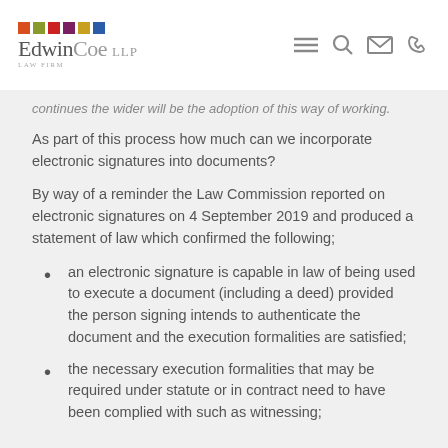Edwin Coe LLP — Law Firm
continues the wider will be the adoption of this way of working.
As part of this process how much can we incorporate electronic signatures into documents?
By way of a reminder the Law Commission reported on electronic signatures on 4 September 2019 and produced a statement of law which confirmed the following;
an electronic signature is capable in law of being used to execute a document (including a deed) provided the person signing intends to authenticate the document and the execution formalities are satisfied;
the necessary execution formalities that may be required under statute or in contract need to have been complied with such as witnessing;